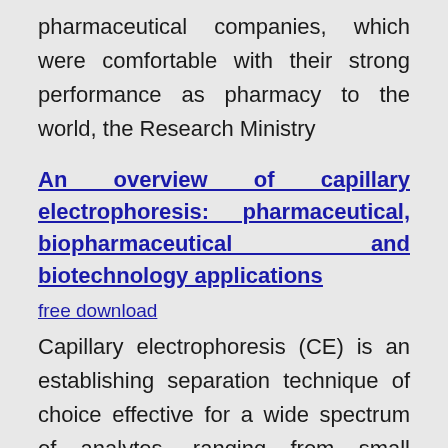pharmaceutical companies, which were comfortable with their strong performance as pharmacy to the world, the Research Ministry
An overview of capillary electrophoresis: pharmaceutical, biopharmaceutical and biotechnology applications
free download
Capillary electrophoresis (CE) is an establishing separation technique of choice effective for a wide spectrum of analytes, ranging from small inorganic ions to DNA macromolecules as it provides reliable data, requires minimal sample preparation and offers a high degree ofThe availability of food supply worldwide is